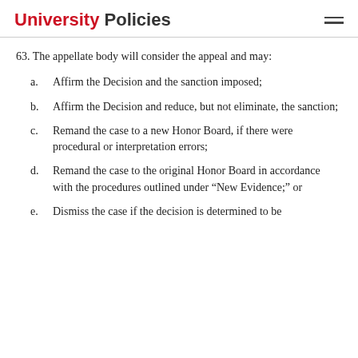University Policies
63. The appellate body will consider the appeal and may:
a. Affirm the Decision and the sanction imposed;
b. Affirm the Decision and reduce, but not eliminate, the sanction;
c. Remand the case to a new Honor Board, if there were procedural or interpretation errors;
d. Remand the case to the original Honor Board in accordance with the procedures outlined under “New Evidence;” or
e. Dismiss the case if the decision is determined to be